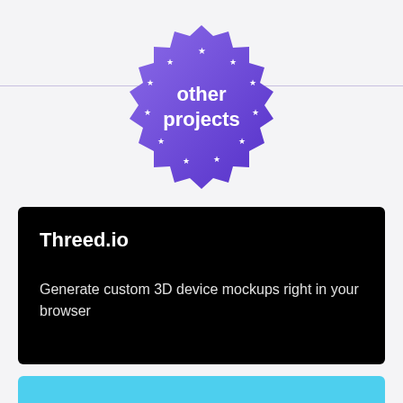[Figure (illustration): Purple gradient starburst/badge shape with white stars around the border and white text reading 'other projects' in the center. A thin horizontal purple/lavender line extends across the full width behind the badge.]
Threed.io
Generate custom 3D device mockups right in your browser